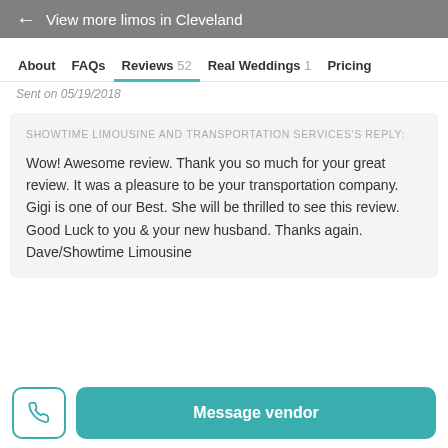← View more limos in Cleveland
About   FAQs   Reviews 52   Real Weddings 1   Pricing
Sent on 05/19/2018
SHOWTIME LIMOUSINE AND TRANSPORTATION SERVICES'S REPLY:
Wow! Awesome review. Thank you so much for your great review. It was a pleasure to be your transportation company. Gigi is one of our Best. She will be thrilled to see this review. Good Luck to you & your new husband. Thanks again.
Dave/Showtime Limousine
Message vendor